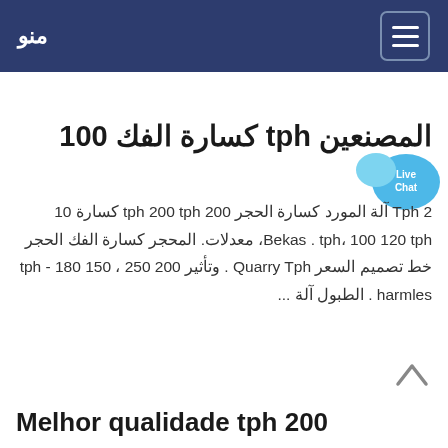منو
المصنعين tph كسارة الفك 100
[Figure (illustration): Live Chat bubble icon in blue]
2 Tph آلة المورد كسارة الحجر 200 tph 200 tph كسارة 10 Bekas . tph، 100 120 tph، معدلات. المحجر كسارة الفك الحجر خط تصميم السعر Quarry Tph . وتأثير 200 250 ، 150 180 tph - harmles . الطبول آلة ...
Melhor qualidade tph 200